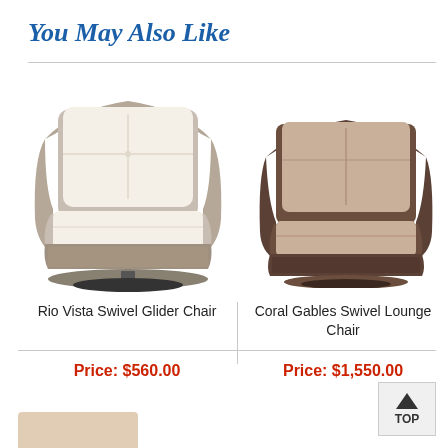You May Also Like
[Figure (photo): Wicker/rattan Rio Vista Swivel Glider Chair with cream/white cushions on a dark round swivel base]
[Figure (photo): Dark brown wicker Coral Gables Swivel Lounge Chair with beige/tan cushions on a swivel base]
Rio Vista Swivel Glider Chair
Coral Gables Swivel Lounge Chair
Price: $560.00
Price: $1,550.00